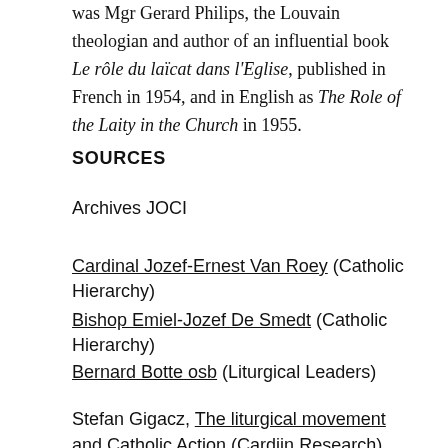was Mgr Gerard Philips, the Louvain theologian and author of an influential book Le rôle du laïcat dans l'Eglise, published in French in 1954, and in English as The Role of the Laity in the Church in 1955.
SOURCES
Archives JOCI
Cardinal Jozef-Ernest Van Roey (Catholic Hierarchy)
Bishop Emiel-Jozef De Smedt (Catholic Hierarchy)
Bernard Botte osb (Liturgical Leaders)
Stefan Gigacz, The liturgical movement and Catholic Action (Cardijn Research)